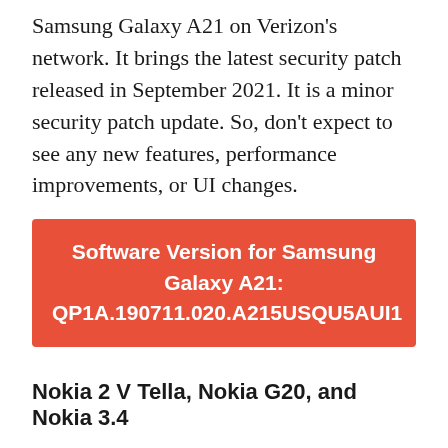Samsung Galaxy A21 on Verizon's network. It brings the latest security patch released in September 2021. It is a minor security patch update. So, don't expect to see any new features, performance improvements, or UI changes.
Software Version for Samsung Galaxy A21: QP1A.190711.020.A215USQU5AUI1
Nokia 2 V Tella, Nokia G20, and Nokia 3.4
Verizon-bound Nokia 2 V Tella is getting the August and September 2021 security update with the 6th system update. Nokia G20 is also receiving the newest security update in Australia and India.